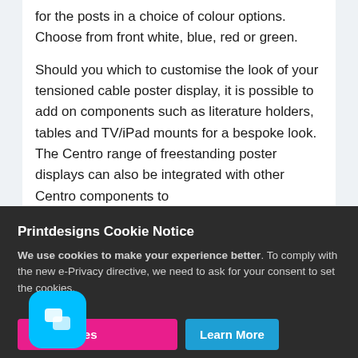for the posts in a choice of colour options. Choose from front white, blue, red or green.
Should you which to customise the look of your tensioned cable poster display, it is possible to add on components such as literature holders, tables and TV/iPad mounts for a bespoke look. The Centro range of freestanding poster displays can also be integrated with other Centro components to
Printdesigns Cookie Notice
We use cookies to make your experience better. To comply with the new e-Privacy directive, we need to ask for your consent to set the cookies.